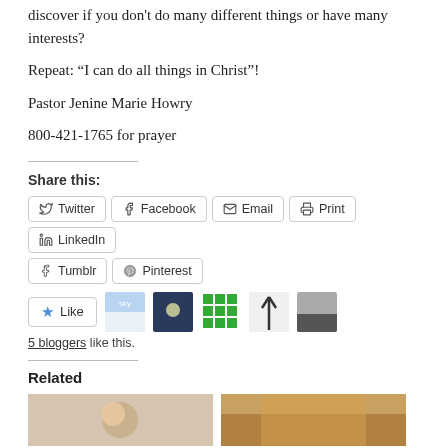discover if you don't do many different things or have many interests?
Repeat: "I can do all things in Christ"!
Pastor Jenine Marie Howry
800-421-1765 for prayer
Share this:
Twitter  Facebook  Email  Print  LinkedIn  Tumblr  Pinterest
[Figure (other): Like button and blogger avatars: 5 bloggers like this.]
5 bloggers like this.
Related
[Figure (photo): Two related article thumbnail images side by side]